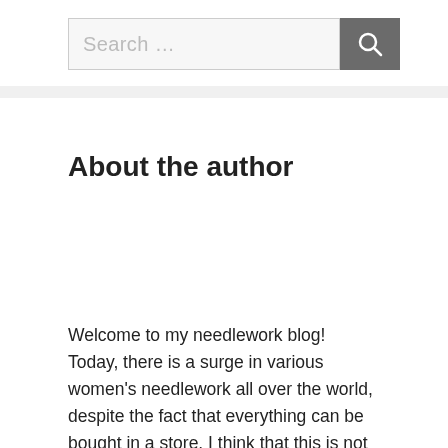Search …
About the author
Welcome to my needlework blog! Today, there is a surge in various women's needlework all over the world, despite the fact that everything can be bought in a store. I think that this is not at all accidental. Women, apparently, subconsciously feel that